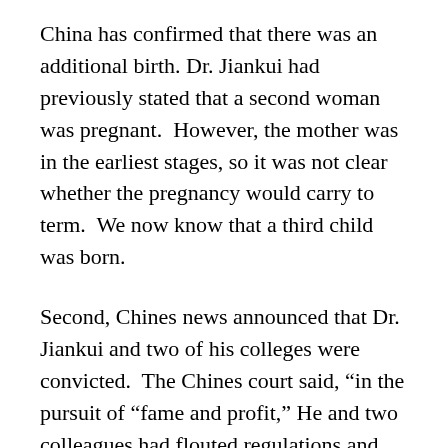China has confirmed that there was an additional birth. Dr. Jiankui had previously stated that a second woman was pregnant.  However, the mother was in the earliest stages, so it was not clear whether the pregnancy would carry to term.  We now know that a third child was born.
Second, Chines news announced that Dr. Jiankui and two of his colleges were convicted.  The Chines court said, “in the pursuit of “fame and profit,” He and two colleagues had flouted regulations and research and medical ethics by altering genes in human embryos that were then implanted into two women.” Dr. Jiankui received the most severe sentence of three years in prison while his calibrators received shorter sentences.